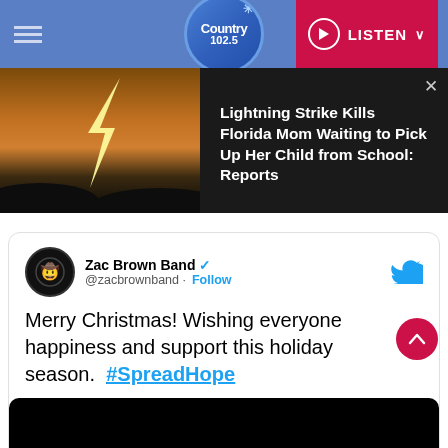Country 102.5 — LISTEN
[Figure (screenshot): News article image strip showing lightning strike photo on left and headline on right: 'Lightning Strike Kills Florida Mom Waiting to Pick Up Her Child from School: Reports']
Lightning Strike Kills Florida Mom Waiting to Pick Up Her Child from School: Reports
[Figure (screenshot): Embedded tweet from Zac Brown Band (@zacbrownband) with Follow button and Twitter bird icon. Tweet text: 'Merry Christmas! Wishing everyone happiness and support this holiday season. #SpreadHope'. Includes a black media embed below.]
Zac Brown Band @zacbrownband · Follow
Merry Christmas! Wishing everyone happiness and support this holiday season.  #SpreadHope